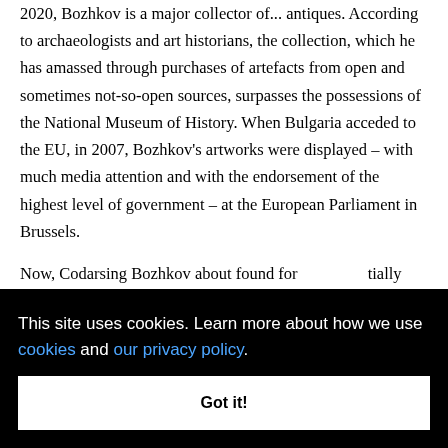2020, Bozhkov is a major collector of... antiques. According to archaeologists and art historians, the collection, which he has amassed through purchases of artefacts from open and sometimes not-so-open sources, surpasses the possessions of the National Museum of History. When Bulgaria acceded to the EU, in 2007, Bozhkov's artworks were displayed – with much media attention and with the endorsement of the highest level of government – at the European Parliament in Brussels.
Now, Codarsing Bozhkov about found for ntially ... is a ... pay ... and
This site uses cookies. Learn more about how we use cookies and our privacy policy.
Got it!